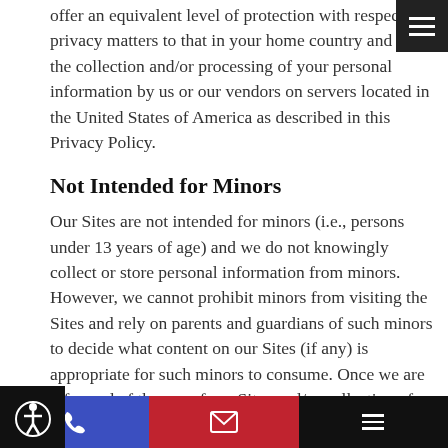offer an equivalent level of protection with respect to privacy matters to that in your home country and to the collection and/or processing of your personal information by us or our vendors on servers located in the United States of America as described in this Privacy Policy.
Not Intended for Minors
Our Sites are not intended for minors (i.e., persons under 13 years of age) and we do not knowingly collect or store personal information from minors. However, we cannot prohibit minors from visiting the Sites and rely on parents and guardians of such minors to decide what content on our Sites (if any) is appropriate for such minors to consume. Once we are informed of the use of our Sites and/or collection of personal information of any minor, we will delete all personal information provided by any minor user to the extent that we are legally and reasonably able to do.
[Figure (other): Navigation bar at bottom with phone icon (blue), email icon (red), and hamburger menu (black)]